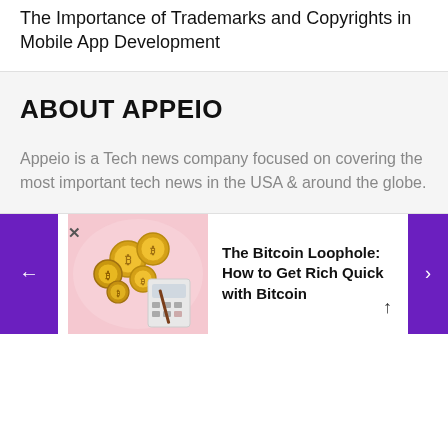The Importance of Trademarks and Copyrights in Mobile App Development
ABOUT APPEIO
Appeio is a Tech news company focused on covering the most important tech news in the USA & around the globe.
[Figure (photo): Photo of gold bitcoin coins on a pink background with a calculator]
The Bitcoin Loophole: How to Get Rich Quick with Bitcoin